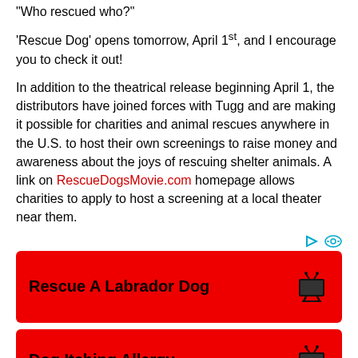“Who rescued who?”
‘Rescue Dog’ opens tomorrow, April 1st, and I encourage you to check it out!
In addition to the theatrical release beginning April 1, the distributors have joined forces with Tugg and are making it possible for charities and animal rescues anywhere in the U.S. to host their own screenings to raise money and awareness about the joys of rescuing shelter animals. A link on RescueDogsMovie.com homepage allows charities to apply to host a screening at a local theater near them.
[Figure (other): Ad banner: Rescue A Labrador Dog with TV icon on red background]
[Figure (other): Ad banner: Dog Itching Allergy with TV icon on red background (partially visible)]